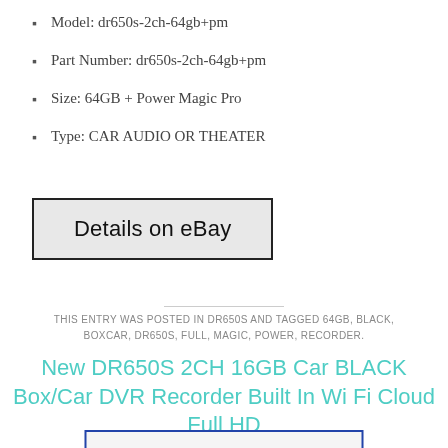Model: dr650s-2ch-64gb+pm
Part Number: dr650s-2ch-64gb+pm
Size: 64GB + Power Magic Pro
Type: CAR AUDIO OR THEATER
[Figure (screenshot): Button labeled 'Details on eBay' with gray background and black border]
THIS ENTRY WAS POSTED IN DR650S AND TAGGED 64GB, BLACK, BOXCAR, DR650S, FULL, MAGIC, POWER, RECORDER.
New DR650S 2CH 16GB Car BLACK Box/Car DVR Recorder Built In Wi Fi Cloud Full HD
[Figure (photo): Product image of DR650S car DVR recorder]